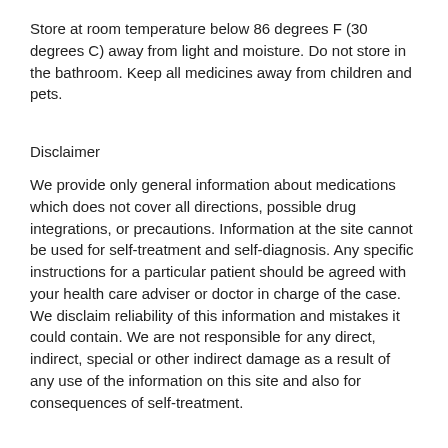Store at room temperature below 86 degrees F (30 degrees C) away from light and moisture. Do not store in the bathroom. Keep all medicines away from children and pets.
Disclaimer
We provide only general information about medications which does not cover all directions, possible drug integrations, or precautions. Information at the site cannot be used for self-treatment and self-diagnosis. Any specific instructions for a particular patient should be agreed with your health care adviser or doctor in charge of the case. We disclaim reliability of this information and mistakes it could contain. We are not responsible for any direct, indirect, special or other indirect damage as a result of any use of the information on this site and also for consequences of self-treatment.